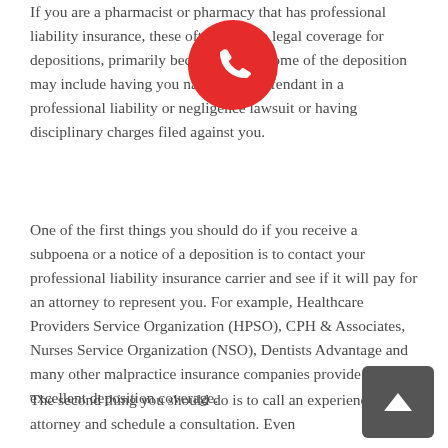If you are a pharmacist or pharmacy that has professional liability insurance, these often provide legal coverage for depositions, primarily because the outcome of the deposition may include having you named as a defendant in a professional liability or negligence lawsuit or having disciplinary charges filed against you.
One of the first things you should do if you receive a subpoena or a notice of a deposition is to contact your professional liability insurance carrier and see if it will pay for an attorney to represent you. For example, Healthcare Providers Service Organization (HPSO), CPH & Associates, Nurses Service Organization (NSO), Dentists Advantage and many other malpractice insurance companies provide excellent deposition coverage.
The second thing you should do is to call an experienced attorney and schedule a consultation. Even